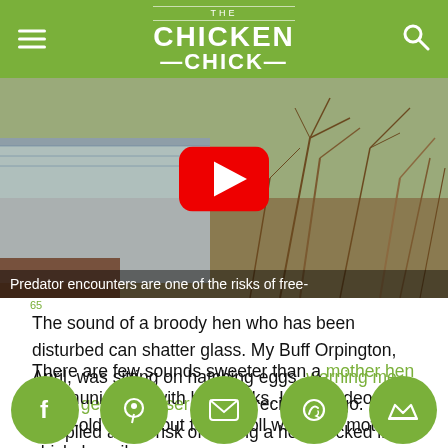THE CHICKEN CHICK
[Figure (screenshot): YouTube video thumbnail showing outdoor scene with dry branches/bushes, a blue-white structure on the left, and a YouTube play button overlay. Caption at bottom reads: 'Predator encounters are one of the risks of free-']
The sound of a broody hen who has been disturbed can shatter glass. My Buff Orpington, April, was sitting on hatching eggs, warning me not to get any closer to her precious cargo. I complied at the risk of having a hole pecked into my hand by her beak.
There are few sounds sweeter than a mother hen communicating with her chicks. In this video, week-old chicks out for a stroll with their mother chick, happily,